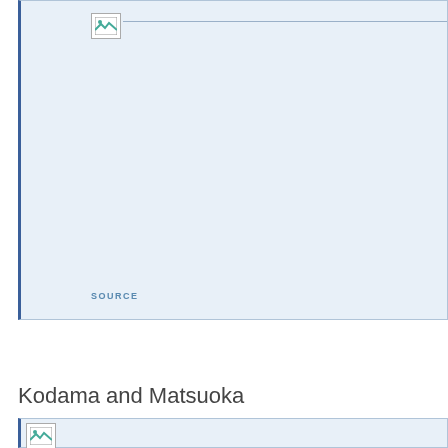[Figure (other): A large figure/chart placeholder with broken image icon at top-left and a SOURCE label at the bottom-left. The figure area has a light blue background with a blue left border.]
SOURCE
Kodama and Matsuoka
[Figure (other): A second figure placeholder with broken image icon, partially visible at the bottom of the page.]